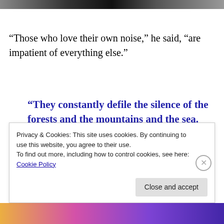[Figure (photo): Partial black and white photograph at the top of the page, cropped]
“Those who love their own noise,” he said, “are impatient of everything else.”
“They constantly defile the silence of the forests and the mountains and the sea. They bore through silent nature in every direction with their machines …”
Privacy & Cookies: This site uses cookies. By continuing to use this website, you agree to their use.
To find out more, including how to control cookies, see here: Cookie Policy
[Figure (photo): Colorful bar or decorative strip at the bottom of the page]